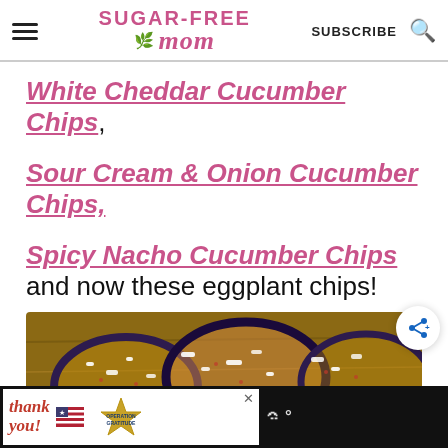Sugar-Free Mom — SUBSCRIBE
White Cheddar Cucumber Chips,
Sour Cream & Onion Cucumber Chips,
Spicy Nacho Cucumber Chips and now these eggplant chips!
[Figure (photo): Close-up photo of eggplant chips topped with white crumbled cheese and seasoning, on a wooden surface.]
[Figure (photo): Advertisement banner at bottom: 'Thank you' with Operation Gratitude logo and weather widget.]